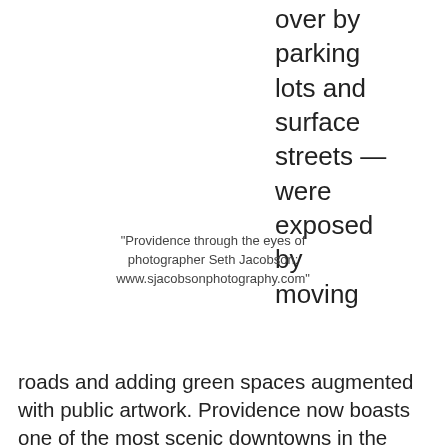over by parking lots and surface streets — were exposed by moving
"Providence through the eyes of photographer Seth Jacobson: www.sjacobsonphotography.com"
roads and adding green spaces augmented with public artwork. Providence now boasts one of the most scenic downtowns in the U.S.
Consider this post your official invitation to pair an intellectually stimulating Sunday with a Friday and Saturday to satisfy your